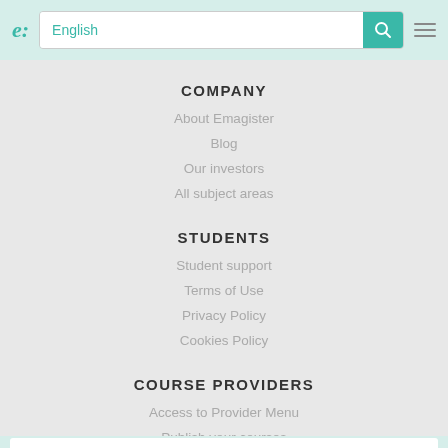e: English [search]
COMPANY
About Emagister
Blog
Our investors
All subject areas
STUDENTS
Student support
Terms of Use
Privacy Policy
Cookies Policy
COURSE PROVIDERS
Access to Provider Menu
Publish your courses
Provider support
See all centres